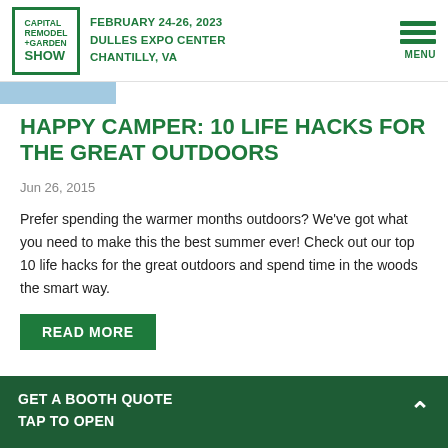CAPITAL REMODEL +GARDEN SHOW | FEBRUARY 24-26, 2023 | DULLES EXPO CENTER | CHANTILLY, VA | MENU
HAPPY CAMPER: 10 LIFE HACKS FOR THE GREAT OUTDOORS
Jun 26, 2015
Prefer spending the warmer months outdoors? We've got what you need to make this the best summer ever! Check out our top 10 life hacks for the great outdoors and spend time in the woods the smart way.
READ MORE
GET A BOOTH QUOTE
TAP TO OPEN